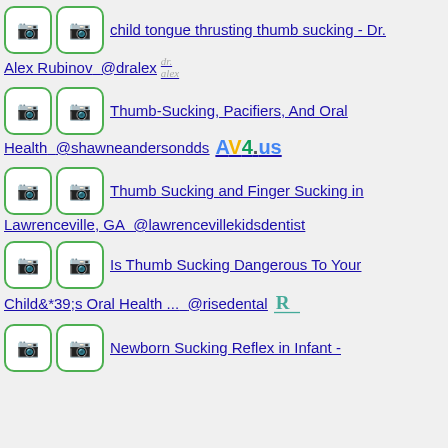child tongue thrusting thumb sucking - Dr. Alex Rubinov  @dralex dr. alex
Thumb-Sucking, Pacifiers, And Oral Health  @shawneandersondds AV4.us
Thumb Sucking and Finger Sucking in Lawrenceville, GA  @lawrencevillekidsdentist
Is Thumb Sucking Dangerous To Your Child&*39;s Oral Health ...  @risedental
Newborn Sucking Reflex in Infant -